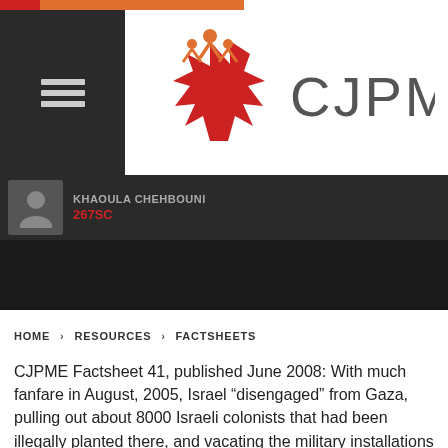[Figure (logo): CJPME organization logo with maple leaf and figure design, accompanied by text CJPME]
KHAOULA CHEHBOUNI
267SC
HOME > RESOURCES > FACTSHEETS
CJPME Factsheet 41, published June 2008: With much fanfare in August, 2005, Israel “disengaged” from Gaza, pulling out about 8000 Israeli colonists that had been illegally planted there, and vacating the military installations which had been established for decades. Even before the Israeli-Gaza violence which reigned